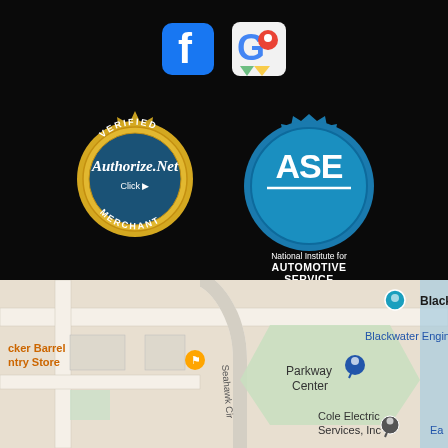[Figure (logo): Facebook icon (white F on dark square with rounded corners) and Google Maps icon side by side]
[Figure (logo): Authorize.Net Verified Merchant badge (gold seal) and ASE National Institute for Automotive Service Excellence logo (blue gear with ASE text)]
[Figure (map): Google Maps screenshot showing Seahawk Cir area with Black Cat Escape Room, Cracker Barrel Country Store, Parkway Center, Cole Electric Services Inc, Blackwater Engineering labels]